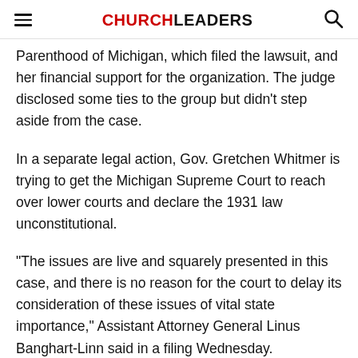CHURCHLEADERS
Parenthood of Michigan, which filed the lawsuit, and her financial support for the organization. The judge disclosed some ties to the group but didn't step aside from the case.
In a separate legal action, Gov. Gretchen Whitmer is trying to get the Michigan Supreme Court to reach over lower courts and declare the 1931 law unconstitutional.
“The issues are live and squarely presented in this case, and there is no reason for the court to delay its consideration of these issues of vital state importance,” Assistant Attorney General Linus Banghart-Linn said in a filing Wednesday.
This article originally appeared here.